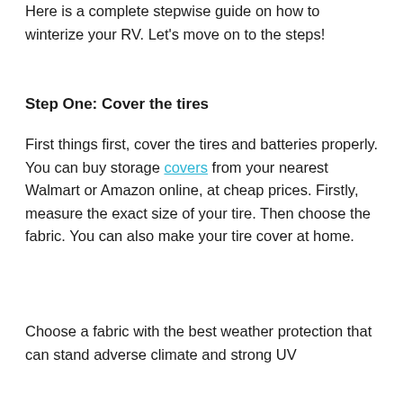Here is a complete stepwise guide on how to winterize your RV. Let's move on to the steps!
Step One: Cover the tires
First things first, cover the tires and batteries properly. You can buy storage covers from your nearest Walmart or Amazon online, at cheap prices. Firstly, measure the exact size of your tire. Then choose the fabric. You can also make your tire cover at home.
Choose a fabric with the best weather protection that can stand adverse climate and strong UV